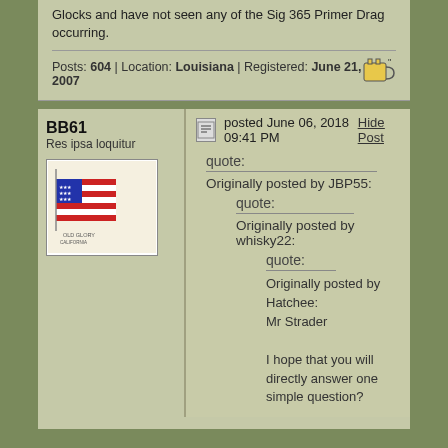Glocks and have not seen any of the Sig 365 Primer Drag occurring.
Posts: 604 | Location: Louisiana | Registered: June 21, 2007
BB61
Res ipsa loquitur
posted June 06, 2018 09:41 PM
Hide Post
quote:
Originally posted by JBP55:

quote:
Originally posted by whisky22:

quote:
Originally posted by Hatchee:
Mr Strader

I hope that you will directly answer one simple question?